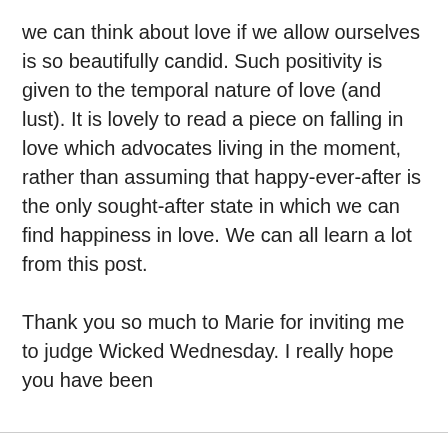we can think about love if we allow ourselves is so beautifully candid. Such positivity is given to the temporal nature of love (and lust). It is lovely to read a piece on falling in love which advocates living in the moment, rather than assuming that happy-ever-after is the only sought-after state in which we can find happiness in love. We can all learn a lot from this post.

Thank you so much to Marie for inviting me to judge Wicked Wednesday. I really hope you have been
We use cookies on our website to give you the most relevant experience by remembering your preferences and repeat visits. By clicking "Accept", you consent to the use of ALL the cookies. Read Privacy & Cookies Policy